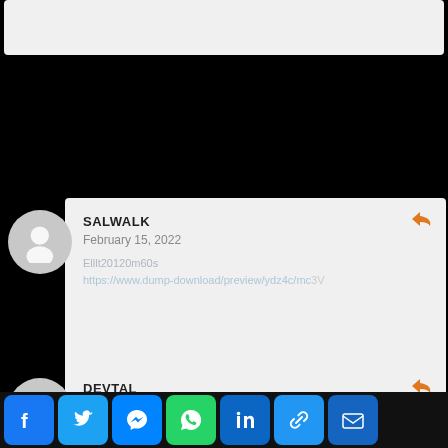[Figure (other): User avatar placeholder circle for SALWALK comment]
SALWALK
February 15, 2022
Comment text (blurred/redacted)
[Figure (other): User avatar placeholder circle for DEVTAL comment]
DEVTAL
February 15, 2022
Comment text (blurred/redacted)
[Figure (infographic): Social sharing bar with Facebook, Twitter, Messenger, WhatsApp, LinkedIn, Link, Email buttons]